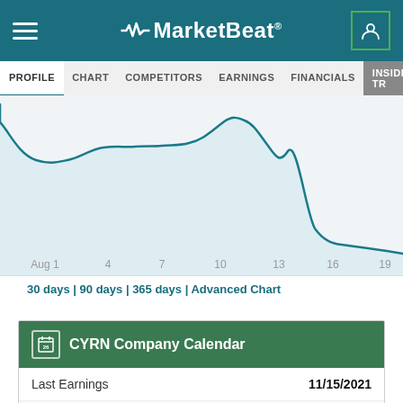MarketBeat
PROFILE | CHART | COMPETITORS | EARNINGS | FINANCIALS | INSIDER TRADES
[Figure (continuous-plot): Stock price line chart for CYRN showing price declining sharply from top-left, reaching a low plateau around Aug 4, then gradually rising to a peak around Aug 16, then sharply dropping and ending very low near Aug 19+. X-axis labels: Aug 1, 4, 7, 10, 13, 16, 19.]
30 days | 90 days | 365 days | Advanced Chart
CYRN Company Calendar
|  |  |
| --- | --- |
| Last Earnings | 11/15/2021 |
| Today | 8/24/2022 |
| Next Earnings (Estimated) | 11/21/2022 |